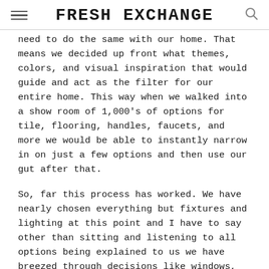FRESH EXCHANGE
need to do the same with our home. That means we decided up front what themes, colors, and visual inspiration that would guide and act as the filter for our entire home. This way when we walked into a show room of 1,000's of options for tile, flooring, handles, faucets, and more we would be able to instantly narrow in on just a few options and then use our gut after that.
So, far this process has worked. We have nearly chosen everything but fixtures and lighting at this point and I have to say other than sitting and listening to all options being explained to us we have breezed through decisions like windows, doors, siding, roof, wood floors, and more. Each time we walk away more confident because we know we stuck to our design plan. Since this has been a key to our design process, few people think of this and we wanted to all